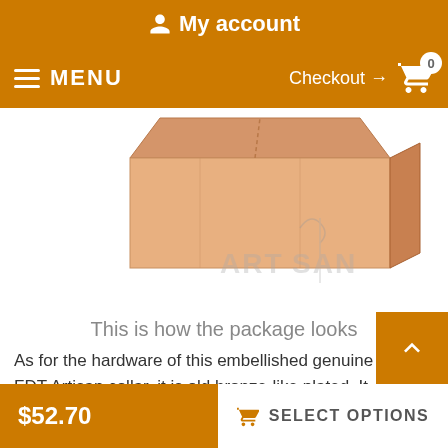My account
MENU  Checkout → 0
[Figure (photo): A cardboard box package shown partially from above on a white background, with the Artisan brand watermark logo visible in the lower right.]
This is how the package looks
As for the hardware of this embellished genuine leather FDT Artisan collar, it is old bronze-like plated. It matches perfectly with the decorative elements. This covering provides additional safety for the details as it prevents rust. The set of fittings includes a traditional elegant buckle and reliable D-ring for leash connection. These fittings are easy to use and reliable in serv
$52.70  SELECT OPTIONS